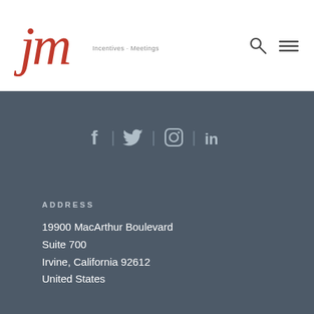[Figure (logo): JMI logo with cursive jm letters in red and tagline 'Incentives · Meetings · Rewards' in gray]
[Figure (other): Search icon and hamburger menu icon in dark gray]
[Figure (other): Social media icons row: Facebook, Twitter, Instagram, LinkedIn separated by vertical dividers on dark gray background]
ADDRESS
19900 MacArthur Boulevard
Suite 700
Irvine, California 92612
United States